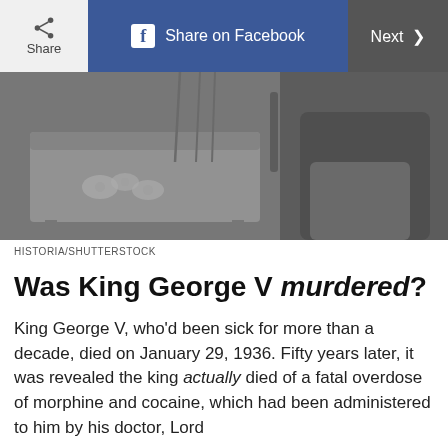Share | Share on Facebook | Next
[Figure (photo): Black and white photograph showing a decorative wooden chest or cabinet with floral painted design, and what appears to be a person's legs/lower body in the background]
HISTORIA/SHUTTERSTOCK
Was King George V murdered?
King George V, who'd been sick for more than a decade, died on January 29, 1936. Fifty years later, it was revealed the king actually died of a fatal overdose of morphine and cocaine, which had been administered to him by his doctor, Lord